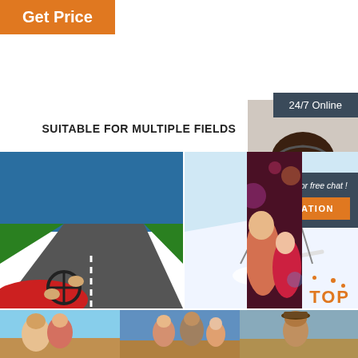Get Price
24/7 Online
SUITABLE FOR MULTIPLE FIELDS
[Figure (photo): Car driving on a coastal road, driver's hands on wheel, red convertible, blue sky]
When driving, block the glare and make the field of vision clearer
[Figure (photo): Skier in dark blue suit on snow slope, action shot with snow spray]
When skiing, it has the function of blocking strong light, so thatyou can have a good view ofoutdoor sports
[Figure (photo): Party scene with people having fun, colorful bokeh lights]
At the party, make you different and become the focus of the whole audience
Click here for free chat !
QUOTATION
[Figure (photo): Customer service woman with headset smiling]
TOP
[Figure (photo): Bottom strip showing people at beach/outdoor scenes]